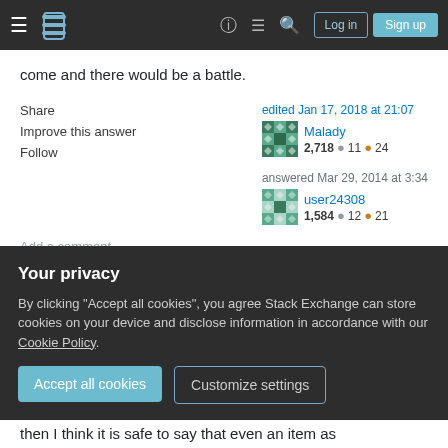Stack Exchange navigation bar with hamburger menu, logo, help, chat, search, Log in, Sign up
come and there would be a battle.
Share
Improve this answer
Follow
edited Jan 17, 2018 at 21:07
Malady
2,718 11 24
answered Mar 29, 2014 at 3:34
user24308
1,584 12 21
Add a comment
I think the biggest thing to consider is the whole
Your privacy
By clicking "Accept all cookies", you agree Stack Exchange can store cookies on your device and disclose information in accordance with our Cookie Policy.
Accept all cookies
Customize settings
then I think it is safe to say that even an item as